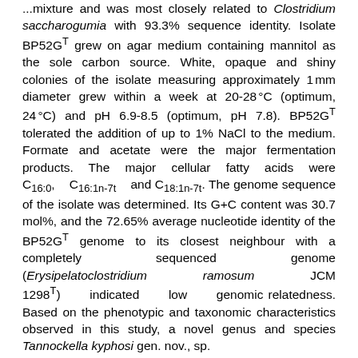...mixture and was most closely related to Clostridium saccharogumia with 93.3% sequence identity. Isolate BP52GT grew on agar medium containing mannitol as the sole carbon source. White, opaque and shiny colonies of the isolate measuring approximately 1 mm diameter grew within a week at 20-28 °C (optimum, 24 °C) and pH 6.9-8.5 (optimum, pH 7.8). BP52GT tolerated the addition of up to 1% NaCl to the medium. Formate and acetate were the major fermentation products. The major cellular fatty acids were C16:0, C16:1n-7t and C18:1n-7t. The genome sequence of the isolate was determined. Its G+C content was 30.7 mol%, and the 72.65% average nucleotide identity of the BP52GT genome to its closest neighbour with a completely sequenced genome (Erysipelatoclostridium ramosum JCM 1298T) indicated low genomic relatedness. Based on the phenotypic and taxonomic characteristics observed in this study, a novel genus and species Tannockella kyphosi gen. nov., sp.